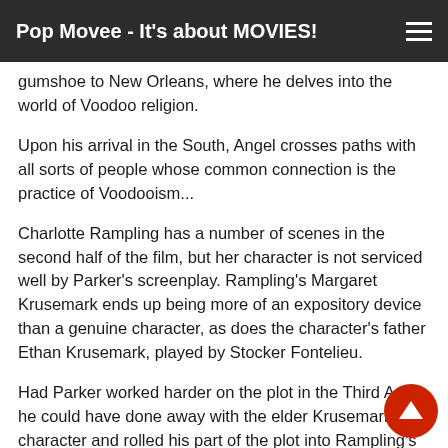Pop Movee - It's about MOVIES!
gumshoe to New Orleans, where he delves into the world of Voodoo religion.
Upon his arrival in the South, Angel crosses paths with all sorts of people whose common connection is the practice of Voodooism...
Charlotte Rampling has a number of scenes in the second half of the film, but her character is not serviced well by Parker's screenplay. Rampling's Margaret Krusemark ends up being more of an expository device than a genuine character, as does the character's father Ethan Krusemark, played by Stocker Fontelieu.
Had Parker worked harder on the plot in the Third Act, he could have done away with the elder Krusemark character and rolled his part of the plot into Rampling's character